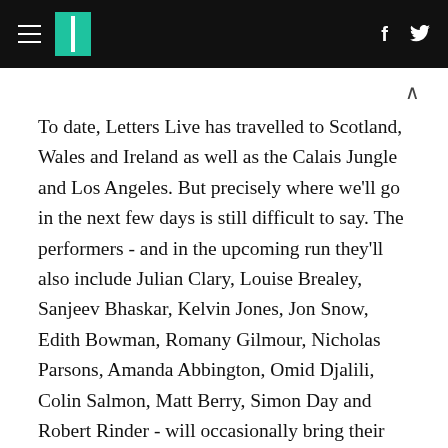HuffPost header with hamburger menu, logo, Facebook and Twitter icons
To date, Letters Live has travelled to Scotland, Wales and Ireland as well as the Calais Jungle and Los Angeles. But precisely where we'll go in the next few days is still difficult to say. The performers - and in the upcoming run they'll also include Julian Clary, Louise Brealey, Sanjeev Bhaskar, Kelvin Jones, Jon Snow, Edith Bowman, Romany Gilmour, Nicholas Parsons, Amanda Abbington, Omid Djalili, Colin Salmon, Matt Berry, Simon Day and Robert Rinder - will occasionally bring their own favourite letters to the mix, but the key is always balance: the right blend of material each night from far-flung